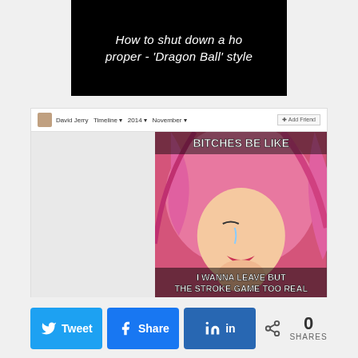[Figure (photo): Black background image with white italic text reading: How to shut down a ho proper - 'Dragon Ball' style]
[Figure (screenshot): Facebook timeline screenshot showing a meme image. The meme features a cartoon girl with pink hair crying, with text 'BITCHES BE LIKE' at top and 'I WANNA LEAVE BUT THE STROKE GAME TOO REAL' at bottom. Left side shows David Jerry's timeline header with Add Friend button.]
[Figure (infographic): Social share bar with Twitter, Facebook, LinkedIn share buttons and a share count of 0 SHARES]